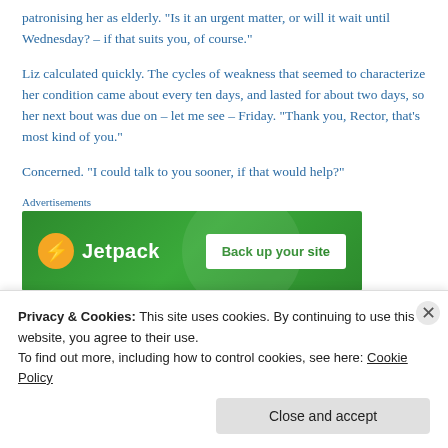patronising her as elderly. “Is it an urgent matter, or will it wait until Wednesday? – if that suits you, of course.”
Liz calculated quickly. The cycles of weakness that seemed to characterize her condition came about every ten days, and lasted for about two days, so her next bout was due on – let me see – Friday. “Thank you, Rector, that’s most kind of you.”
Concerned. “I could talk to you sooner, if that would help?”
[Figure (screenshot): Jetpack advertisement banner with green background, Jetpack logo and 'Back up your site' button]
“No, it’s about – well, I’ll explain – it’s important –
Privacy & Cookies: This site uses cookies. By continuing to use this website, you agree to their use.
To find out more, including how to control cookies, see here: Cookie Policy